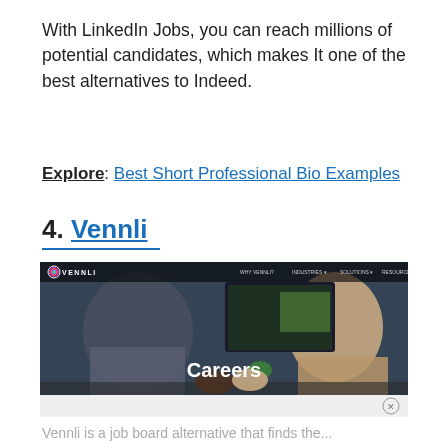With LinkedIn Jobs, you can reach millions of potential candidates, which makes It one of the best alternatives to Indeed.
Explore: Best Short Professional Bio Examples
4. Vennli
[Figure (screenshot): Screenshot of the Vennli website Careers page, showing two people fist-bumping across a desk in an office, with the word 'Careers' overlaid in white text, and the Vennli navigation bar at the top.]
Vennli is a job board alternative that finds the...